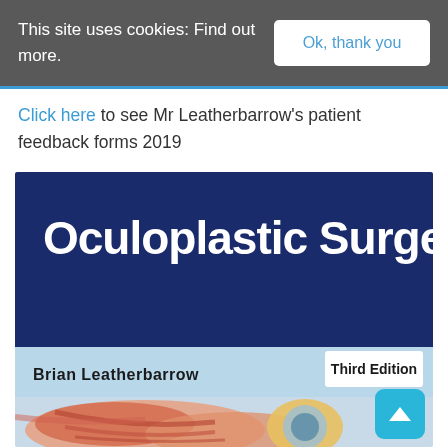This site uses cookies: Find out more.
Ok, thank you
Click here to see Mr Leatherbarrow's patient feedback forms 2019
[Figure (illustration): Book cover of Oculoplastic Surgery, Third Edition by Brian Leatherbarrow. Dark navy blue top section with large white bold title text 'Oculoplastic Surgery', light blue middle band with author name 'Brian Leatherbarrow' on the left and 'Third Edition' badge on the right, and a medical anatomical illustration of the eye/orbit region at the bottom.]